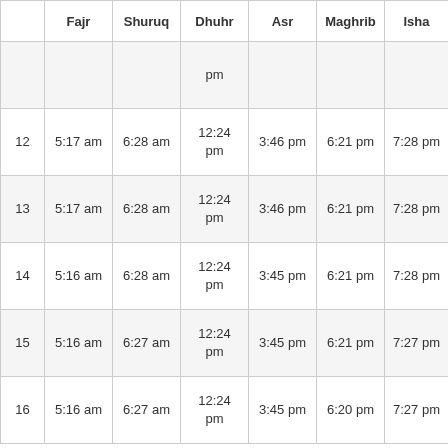|  | Fajr | Shuruq | Dhuhr | Asr | Maghrib | Isha |
| --- | --- | --- | --- | --- | --- | --- |
|  |  |  | pm |  |  |  |
| 12 | 5:17 am | 6:28 am | 12:24 pm | 3:46 pm | 6:21 pm | 7:28 pm |
| 13 | 5:17 am | 6:28 am | 12:24 pm | 3:46 pm | 6:21 pm | 7:28 pm |
| 14 | 5:16 am | 6:28 am | 12:24 pm | 3:45 pm | 6:21 pm | 7:28 pm |
| 15 | 5:16 am | 6:27 am | 12:24 pm | 3:45 pm | 6:21 pm | 7:27 pm |
| 16 | 5:16 am | 6:27 am | 12:24 pm | 3:45 pm | 6:20 pm | 7:27 pm |